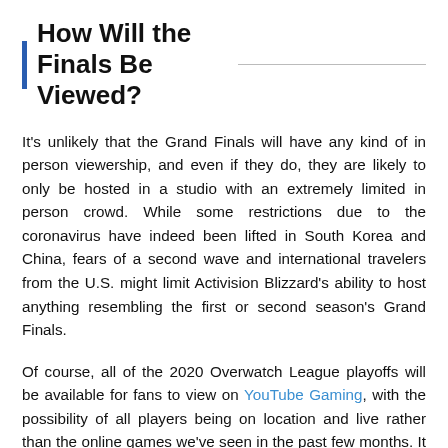How Will the Finals Be Viewed?
It's unlikely that the Grand Finals will have any kind of in person viewership, and even if they do, they are likely to only be hosted in a studio with an extremely limited in person crowd. While some restrictions due to the coronavirus have indeed been lifted in South Korea and China, fears of a second wave and international travelers from the U.S. might limit Activision Blizzard's ability to host anything resembling the first or second season's Grand Finals.
Of course, all of the 2020 Overwatch League playoffs will be available for fans to view on YouTube Gaming, with the possibility of all players being on location and live rather than the online games we've seen in the past few months. It would also mean a return to action for all the